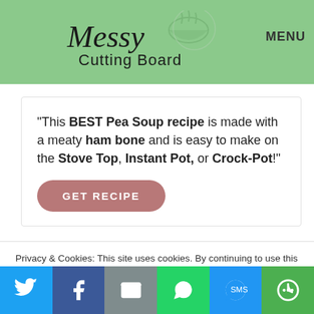Messy Cutting Board   MENU
"This BEST Pea Soup recipe is made with a meaty ham bone and is easy to make on the Stove Top, Instant Pot, or Crock-Pot!"
GET RECIPE
[Figure (photo): Food photo showing soup with ingredients, partially visible]
Privacy & Cookies: This site uses cookies. By continuing to use this website, you agree to their use.
To find out more, including how to control cookies, see here: Cookie Policy
[Figure (infographic): Social sharing bar with Twitter, Facebook, Email, WhatsApp, SMS, and More buttons]